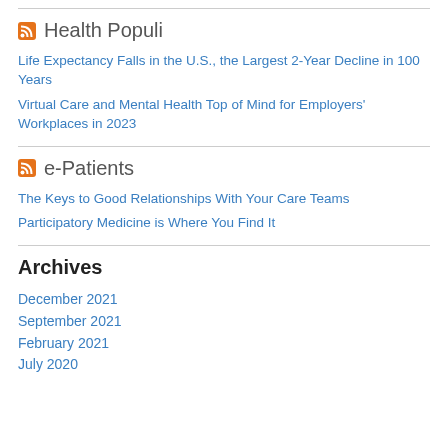Health Populi
Life Expectancy Falls in the U.S., the Largest 2-Year Decline in 100 Years
Virtual Care and Mental Health Top of Mind for Employers' Workplaces in 2023
e-Patients
The Keys to Good Relationships With Your Care Teams
Participatory Medicine is Where You Find It
Archives
December 2021
September 2021
February 2021
July 2020